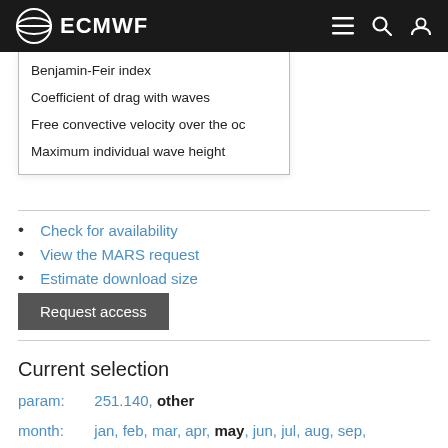ECMWF
Benjamin-Feir index
Coefficient of drag with waves
Free convective velocity over the oc
Maximum individual wave height
Check for availability
View the MARS request
Estimate download size
Request access
Current selection
param: 251.140, other
month: jan, feb, mar, apr, may, jun, jul, aug, sep,